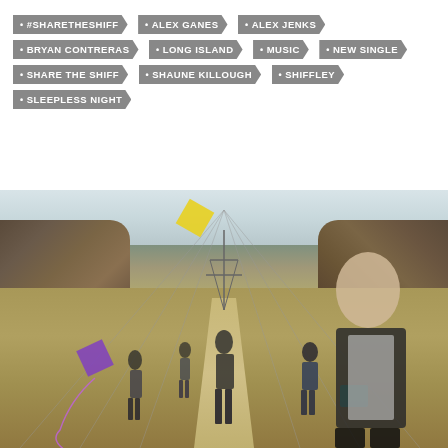#SHARETHESHIFF
ALEX GANES
ALEX JENKS
BRYAN CONTRERAS
LONG ISLAND
MUSIC
NEW SINGLE
SHARE THE SHIFF
SHAUNE KILLOUGH
SHIFFLEY
SLEEPLESS NIGHT
[Figure (photo): Five young men standing in an open field corridor under power lines between two tree lines, with colorful kites. One person in foreground right in dark jacket, others spread out behind along the dirt path.]